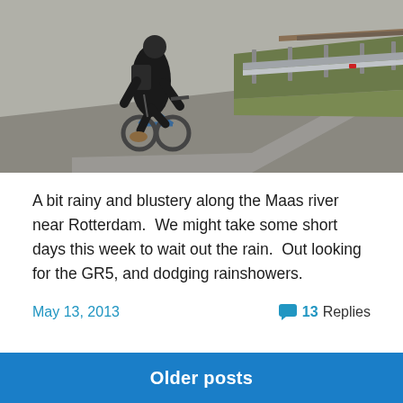[Figure (photo): Person riding a bicycle on a path next to a guardrail along the Maas river, viewed from behind. Overcast/rainy day, grass and railway tracks visible.]
A bit rainy and blustery along the Maas river near Rotterdam.  We might take some short days this week to wait out the rain.  Out looking for the GR5, and dodging rainshowers.
May 13, 2013    13 Replies
Older posts